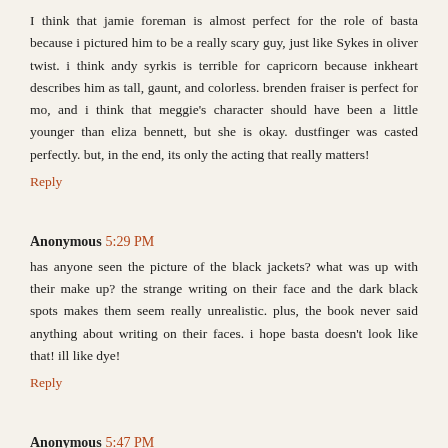I think that jamie foreman is almost perfect for the role of basta because i pictured him to be a really scary guy, just like Sykes in oliver twist. i think andy syrkis is terrible for capricorn because inkheart describes him as tall, gaunt, and colorless. brenden fraiser is perfect for mo, and i think that meggie's character should have been a little younger than eliza bennett, but she is okay. dustfinger was casted perfectly. but, in the end, its only the acting that really matters!
Reply
Anonymous 5:29 PM
has anyone seen the picture of the black jackets? what was up with their make up? the strange writing on their face and the dark black spots makes them seem really unrealistic. plus, the book never said anything about writing on their faces. i hope basta doesn't look like that! ill like dye!
Reply
Anonymous 5:47 PM